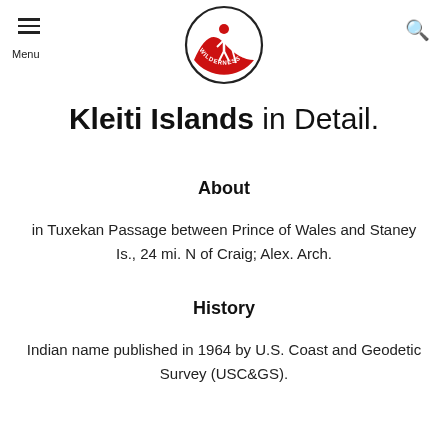Menu | Alaska Guide Co. Logo | Search
Kleiti Islands in Detail.
About
in Tuxekan Passage between Prince of Wales and Staney Is., 24 mi. N of Craig; Alex. Arch.
History
Indian name published in 1964 by U.S. Coast and Geodetic Survey (USC&GS).